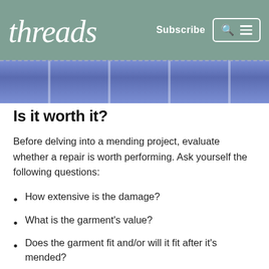threads  Subscribe
[Figure (photo): Close-up photo of denim fabric with white stitching and pink details, purple/blue tones]
Is it worth it?
Before delving into a mending project, evaluate whether a repair is worth performing. Ask yourself the following questions:
How extensive is the damage?
What is the garment’s value?
Does the garment fit and/or will it fit after it’s mended?
Will the garment be worn after it is mended?
Will it be outgrown soon, or can it be handed